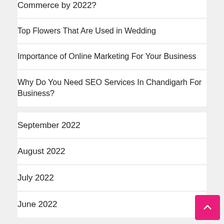Commerce by 2022?
Top Flowers That Are Used in Wedding
Importance of Online Marketing For Your Business
Why Do You Need SEO Services In Chandigarh For Business?
September 2022
August 2022
July 2022
June 2022